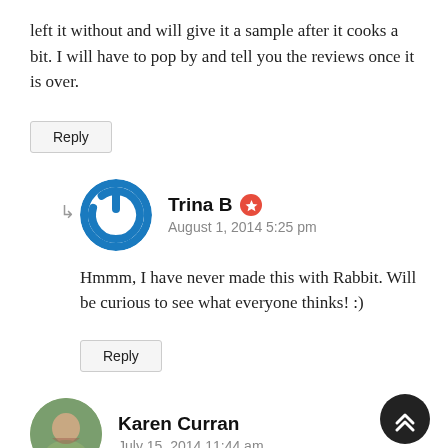left it without and will give it a sample after it cooks a bit. I will have to pop by and tell you the reviews once it is over.
Reply
Trina B — August 1, 2014 5:25 pm
Hmmm, I have never made this with Rabbit. Will be curious to see what everyone thinks! :)
Reply
Karen Curran — July 15, 2014 11:44 am
Loved the chili, the whole family loved it!! I wanted to